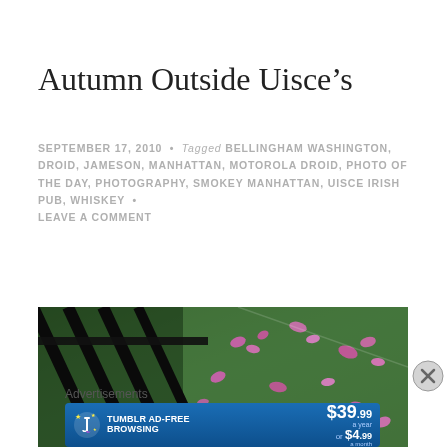Autumn Outside Uisce’s
SEPTEMBER 17, 2010 • Tagged BELLINGHAM WASHINGTON, DROID, JAMESON, MANHATTAN, MOTOROLA DROID, PHOTO OF THE DAY, PHOTOGRAPHY, SMOKEY MANHATTAN, UISCE IRISH PUB, WHISKEY • LEAVE A COMMENT
[Figure (photo): Autumn photo taken outside Uisce's Irish Pub showing fallen pink/purple flower petals on green grass, with black iron fence bars visible at the left side of the image, shot with Motorola Droid]
Advertisements
[Figure (other): Tumblr Ad-Free Browsing advertisement banner: $39.99 a year or $4.99 a month]